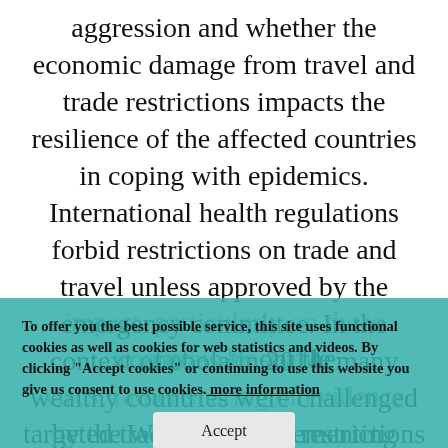aggression and whether the economic damage from travel and trade restrictions impacts the resilience of the affected countries in coping with epidemics. International health regulations forbid restrictions on trade and travel unless approved by the emergency committee. In the context of ebola in 2014, many wealthy countries were challenged by the WHO for implementing unapproved travel and trade restrictions. The implementation of severe travel restrictions in relation to COVID-19 has had a devastating impact, particularly on those countries least able to contain the virus. Early information about the virus, rather sharing of evidence from Wuhan about transmissibility, implementation of targeted trade and travel restrictions could have
To offer you the best possible service, this site uses functional cookies as well as cookies for web statistics and videos. By clicking "Accept cookies" or continuing to use this website you give us consent to use cookies. more information